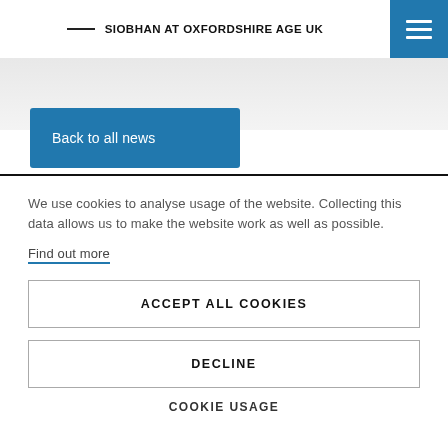SIOBHAN AT OXFORDSHIRE AGE UK
[Figure (screenshot): Blue hamburger menu button in top-right corner]
[Figure (screenshot): Gray background band visible below header]
Back to all news
We use cookies to analyse usage of the website. Collecting this data allows us to make the website work as well as possible.
Find out more
ACCEPT ALL COOKIES
DECLINE
COOKIE USAGE